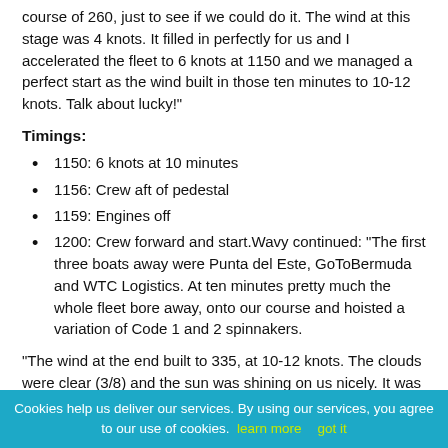course of 260, just to see if we could do it. The wind at this stage was 4 knots. It filled in perfectly for us and I accelerated the fleet to 6 knots at 1150 and we managed a perfect start as the wind built in those ten minutes to 10-12 knots. Talk about lucky!"
Timings:
1150: 6 knots at 10 minutes
1156: Crew aft of pedestal
1159: Engines off
1200: Crew forward and start.Wavy continued: "The first three boats away were Punta del Este, GoToBermuda and WTC Logistics. At ten minutes pretty much the whole fleet bore away, onto our course and hoisted a variation of Code 1 and 2 spinnakers.
"The wind at the end built to 335, at 10-12 knots. The clouds were clear (3/8) and the sun was shining on us nicely. It was a lucky build just in time but turned out to be a perfect start with the teams all lined up."
Cookies help us deliver our services. By using our services, you agree to our use of cookies. learn more   got it